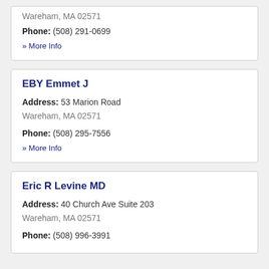Wareham, MA 02571
Phone: (508) 291-0699
» More Info
EBY Emmet J
Address: 53 Marion Road, Wareham, MA 02571
Phone: (508) 295-7556
» More Info
Eric R Levine MD
Address: 40 Church Ave Suite 203, Wareham, MA 02571
Phone: (508) 996-3991